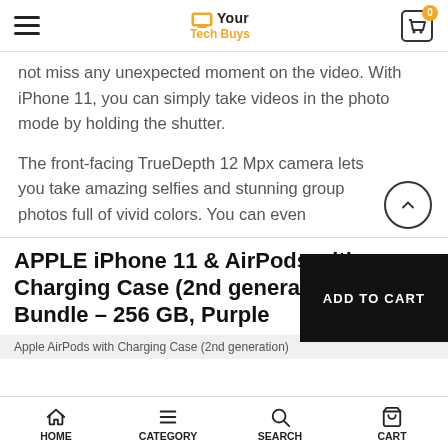Your Tech Buys — navigation header with hamburger menu and cart badge (0)
not miss any unexpected moment on the video. With iPhone 11, you can simply take videos in the photo mode by holding the shutter.
The front-facing TrueDepth 12 Mpx camera lets you take amazing selfies and stunning group photos full of vivid colors. You can even
APPLE iPhone 11 & AirPods with Charging Case (2nd generation) Bundle – 256 GB, Purple
Apple AirPods with Charging Case (2nd generation)
HOME   CATEGORY   SEARCH   CART